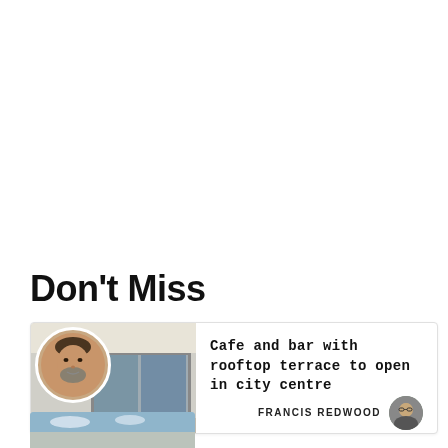Don't Miss
[Figure (photo): Card with a main photo of a cafe/bar storefront with a circular portrait of a man overlaid, article title text, and author credit for Francis Redwood with small circular author photo]
[Figure (photo): Bottom strip showing a blue sky scene, partially visible]